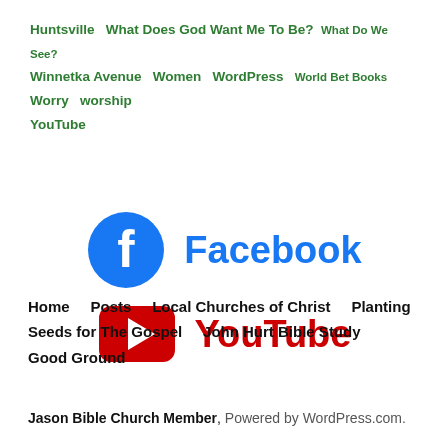Huntsville  What Does God Want Me To Be?  What Do We See?  Winnetka Avenue  Women  WordPress  World Bet Books  Worry  worship  YouTube
[Figure (logo): Facebook logo (blue circle with white f) next to the word 'Facebook' in blue bold text]
[Figure (logo): YouTube logo (red rounded rectangle with white play triangle) next to the word 'YouTube' in red bold text]
Home     Posts     Local Churches of Christ     Planting Seeds for The Gospel     John Hurt Bible Study     Good Ground
Jason Bible Church Member, Powered by WordPress.com.